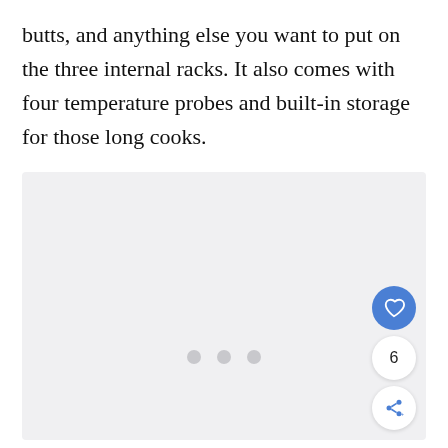butts, and anything else you want to put on the three internal racks. It also comes with four temperature probes and built-in storage for those long cooks.
[Figure (other): Image placeholder with light gray background and three gray dots centered, with a heart/like button (blue circle with heart icon), a count of 6, and a share button on the right side.]